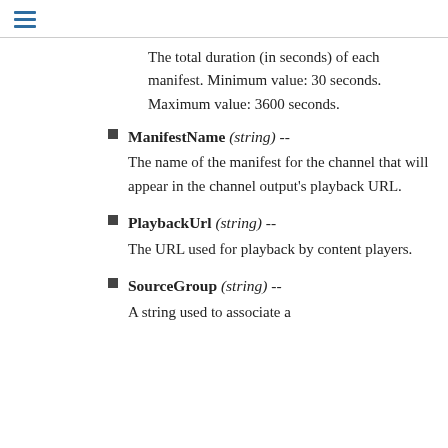The total duration (in seconds) of each manifest. Minimum value: 30 seconds. Maximum value: 3600 seconds.
ManifestName (string) --
The name of the manifest for the channel that will appear in the channel output's playback URL.
PlaybackUrl (string) --
The URL used for playback by content players.
SourceGroup (string) --
A string used to associate a